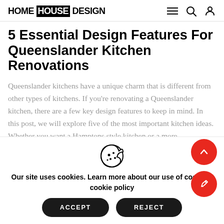HOME HOUSE DESIGN
5 Essential Design Features For Queenslander Kitchen Renovations
Queenslander kitchens have a unique charm that is different from other types of kitchens. If you're renovating a Queenslander kitchen, there are a few key design features to keep in mind. In this post, we will explore five of the most important kitchen ideas. Whether you want a Hamptons style kitchen or a more traditional...
Our site uses cookies. Learn more about our use of cookies: cookie policy